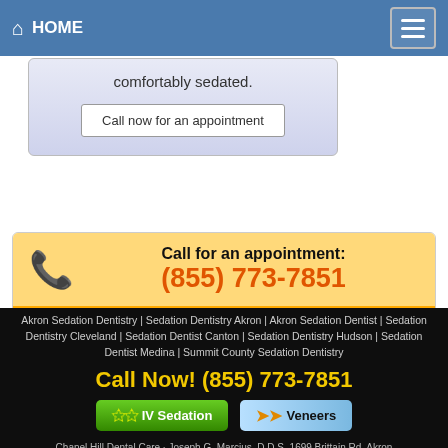HOME
comfortably sedated.
Call now for an appointment
Call for an appointment:
(855) 773-7851
Make an Appointment
Call Now! (855) 773-7851
IV Sedation   Veneers
Akron Sedation Dentistry | Sedation Dentistry Akron | Akron Sedation Dentist | Sedation Dentistry Cleveland | Sedation Dentist Canton | Sedation Dentistry Hudson | Sedation Dentist Medina | Summit County Sedation Dentistry
Chanel Hill Dental Care - Joseph G. Marcius, D.D.S. 1699 Brittain Rd, Akron